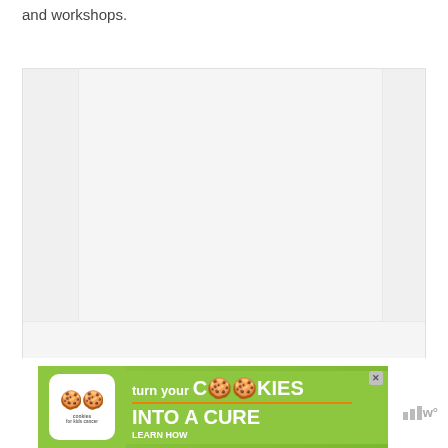and workshops.
[Figure (other): Large mostly blank/white image placeholder with light gray side strips on left and right, and a lighter bottom section. Appears to be an embedded media or image area within a webpage.]
[Figure (infographic): Advertisement banner for 'Cookies for Kids Cancer' charity. Green background with white rounded-rectangle logo showing cookie graphics and text 'cookies for kids cancer'. Main text reads 'turn your COOKIES into a CURE LEARN HOW' with an orange underline. Close button (X) in top right. Watermark logo with bar graph icon and 'w°' in gray on the right.]